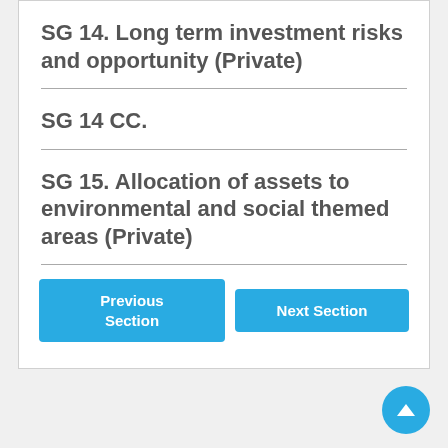SG 14. Long term investment risks and opportunity (Private)
SG 14 CC.
SG 15. Allocation of assets to environmental and social themed areas (Private)
Previous Section | Next Section